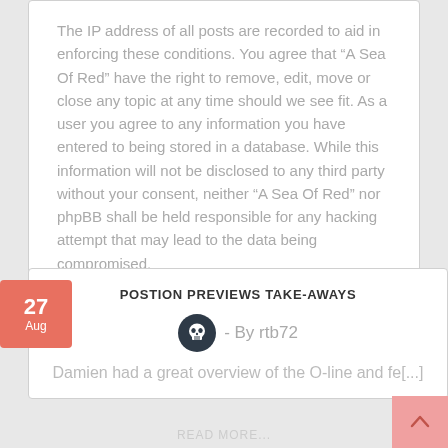The IP address of all posts are recorded to aid in enforcing these conditions. You agree that “A Sea Of Red” have the right to remove, edit, move or close any topic at any time should we see fit. As a user you agree to any information you have entered to being stored in a database. While this information will not be disclosed to any third party without your consent, neither “A Sea Of Red” nor phpBB shall be held responsible for any hacking attempt that may lead to the data being compromised.
POSTION PREVIEWS TAKE-AWAYS
- By rtb72
Damien had a great overview of the O-line and fe[...]
READ MORE...